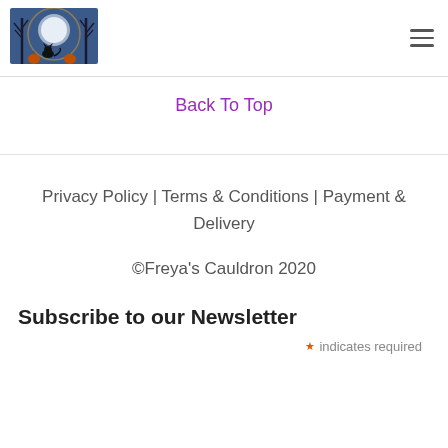[Figure (logo): Freya's Cauldron logo: circular emblem with a black cat silhouette against a moon, flanked by bare trees and pumpkins on a blue night background]
Back To Top
Privacy Policy | Terms & Conditions | Payment & Delivery
©Freya's Cauldron 2020
Subscribe to our Newsletter
* indicates required